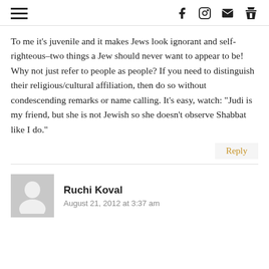Navigation and social icons header
To me it's juvenile and it makes Jews look ignorant and self-righteous–two things a Jew should never want to appear to be! Why not just refer to people as people? If you need to distinguish their religious/cultural affiliation, then do so without condescending remarks or name calling. It's easy, watch: "Judi is my friend, but she is not Jewish so she doesn't observe Shabbat like I do."
Reply
Ruchi Koval
August 21, 2012 at 3:37 am